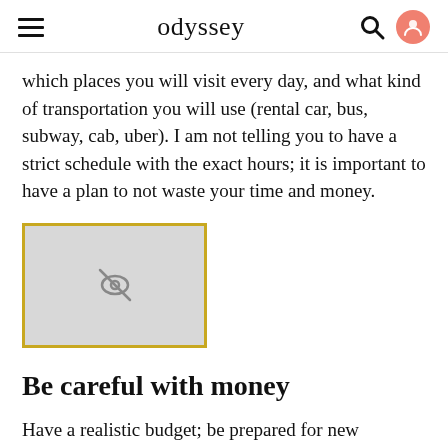odyssey
which places you will visit every day, and what kind of transportation you will use (rental car, bus, subway, cab, uber). I am not telling you to have a strict schedule with the exact hours; it is important to have a plan to not waste your time and money.
[Figure (photo): Image placeholder with a hidden/broken image icon, surrounded by a golden-yellow border]
Be careful with money
Have a realistic budget; be prepared for new currencies and currency exchange commissions. Have an extra credit card in case of any emergency. Remember you